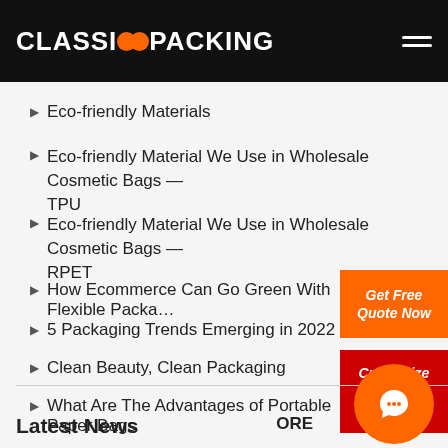CLASSICCPACKING
Eco-friendly Materials
Eco-friendly Material We Use in Wholesale Cosmetic Bags — TPU
Eco-friendly Material We Use in Wholesale Cosmetic Bags — RPET
How Ecommerce Can Go Green With Flexible Packa…
5 Packaging Trends Emerging in 2022
Clean Beauty, Clean Packaging
What Are The Advantages of Portable Paper Bags
[Figure (other): Get Free Quote Now orange CTA button]
[Figure (other): Customize Your Bag Now red CTA button]
Latest News